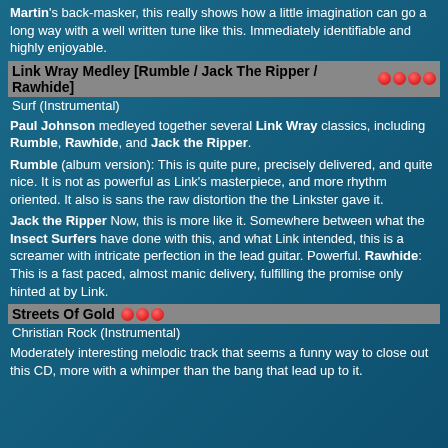Martin's back-masker, this really shows how a little imagination can go a long way with a well written tune like this. Immediately identifiable and highly enjoyable.
Link Wray Medley [Rumble / Jack The Ripper / Rawhide] ●●●●
Surf (Instrumental)
Paul Johnson medleyed together several Link Wray classics, including Rumble, Rawhide, and Jack the Ripper.
Rumble (album version): This is quite pure, precisely delivered, and quite nice. It is not as powerful as Link's masterpiece, and more rhythm oriented. It also is sans the raw distortion the the Linkster gave it.
Jack the Ripper Now, this is more like it. Somewhere between what the Insect Surfers have done with this, and what Link intended, this is a screamer with intricate perfection in the lead guitar. Powerful. Rawhide: This is a fast paced, almost manic delivery, fulfilling the promise only hinted at by Link.
Streets Of Gold ●●●
Christian Rock (Instrumental)
Moderately interesting melodic track that seems a funny way to close out this CD, more with a whimper than the bang that lead up to it.